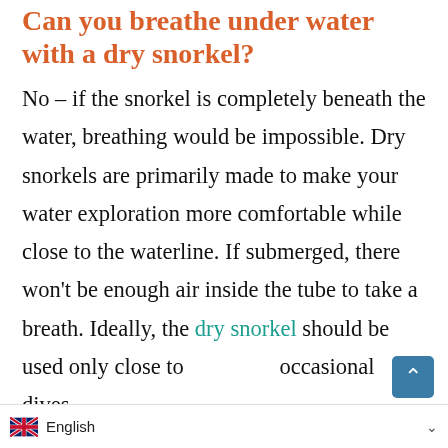Can you breathe under water with a dry snorkel?
No – if the snorkel is completely beneath the water, breathing would be impossible. Dry snorkels are primarily made to make your water exploration more comfortable while close to the waterline. If submerged, there won't be enough air inside the tube to take a breath. Ideally, the dry snorkel should be used only close to the surface with occasional dives.